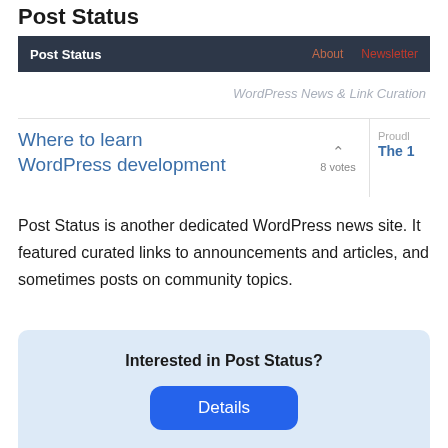Post Status
[Figure (screenshot): Post Status website navbar with brand name 'Post Status' on dark background and 'About' and 'Newsletter' links in red on the right]
WordPress News & Link Curation
[Figure (screenshot): Website card showing 'Where to learn WordPress development' with vote arrow showing 8 votes and partial right column showing 'Proudly' and 'The 1']
Post Status is another dedicated WordPress news site. It featured curated links to announcements and articles, and sometimes posts on community topics.
Interested in Post Status?
Details